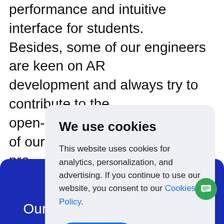performance and intuitive interface for students. Besides, some of our engineers are keen on AR development and always try to contribute to the open-source AR community. One of our latest pro… libr… stu…
[Figure (screenshot): Cookie consent modal dialog with title 'We use cookies', body text about analytics, personalization, advertising, a Cookies Policy link, and an Accept button.]
Our engineers will be glad to